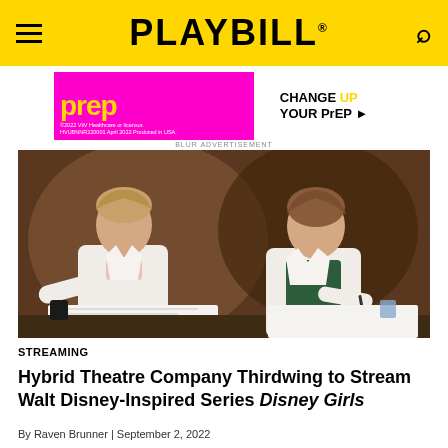PLAYBILL
[Figure (photo): Advertisement banner for PrEP medication with pink/magenta background showing stylized 'PrEP' text in yellow on left and 'CHANGE UP YOUR PrEP' on white panel on right. Small text: ©2022 ViiV Healthcare or licensor. HVUBNNR220001 April 2022 Produced in USA.]
[Figure (photo): Two women in white lab coats sitting at a desk with papers and notebooks, posed looking at camera in a dark-background theatrical scene.]
STREAMING
Hybrid Theatre Company Thirdwing to Stream Walt Disney-Inspired Series Disney Girls
By Raven Brunner | September 2, 2022